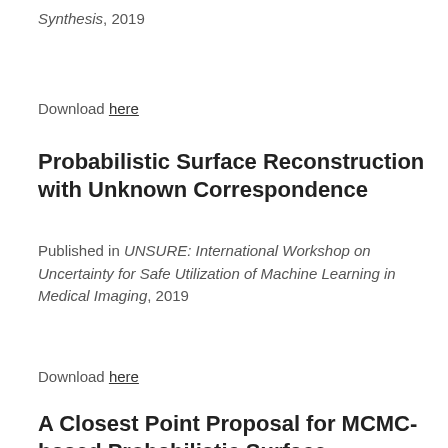Synthesis, 2019
Download here
Probabilistic Surface Reconstruction with Unknown Correspondence
Published in UNSURE: International Workshop on Uncertainty for Safe Utilization of Machine Learning in Medical Imaging, 2019
Download here
A Closest Point Proposal for MCMC-based Probabilistic Surface Registration